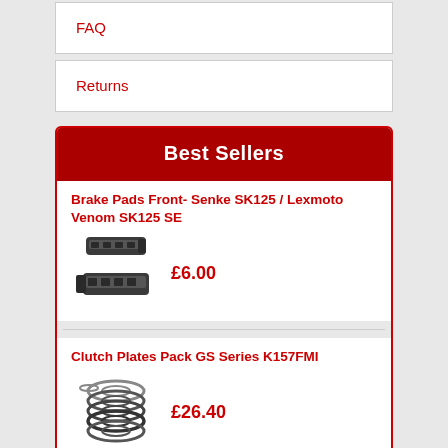FAQ
Returns
Best Sellers
Brake Pads Front- Senke SK125 / Lexmoto Venom SK125 SE
£6.00
[Figure (photo): Brake pads for Senke SK125 / Lexmoto Venom SK125 SE]
Clutch Plates Pack GS Series K157FMI
£26.40
[Figure (photo): Clutch plates pack for GS Series K157FMI]